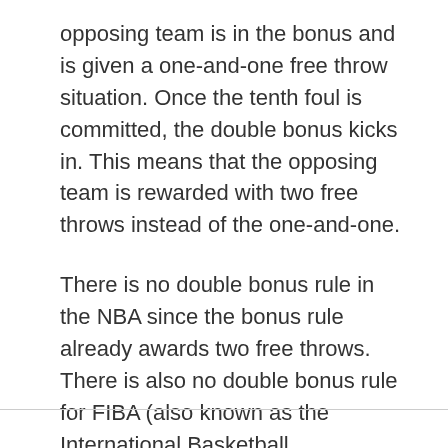opposing team is in the bonus and is given a one-and-one free throw situation. Once the tenth foul is committed, the double bonus kicks in. This means that the opposing team is rewarded with two free throws instead of the one-and-one.
There is no double bonus rule in the NBA since the bonus rule already awards two free throws. There is also no double bonus rule for FIBA (also known as the International Basketball Federation).